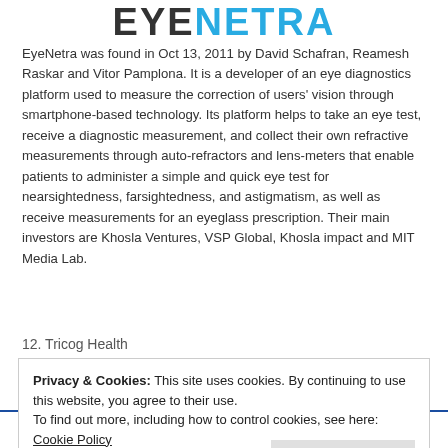[Figure (logo): EyeNetra logo with EYE in dark gray and NETRA in blue, bold large text]
EyeNetra was found in Oct 13, 2011 by David Schafran, Reamesh Raskar and Vitor Pamplona. It is a developer of an eye diagnostics platform used to measure the correction of users' vision through smartphone-based technology. Its platform helps to take an eye test, receive a diagnostic measurement, and collect their own refractive measurements through auto-refractors and lens-meters that enable patients to administer a simple and quick eye test for nearsightedness, farsightedness, and astigmatism, as well as receive measurements for an eyeglass prescription. Their main investors are Khosla Ventures, VSP Global, Khosla impact and MIT Media Lab.
12. Tricog Health
Privacy & Cookies: This site uses cookies. By continuing to use this website, you agree to their use.
To find out more, including how to control cookies, see here: Cookie Policy
[Figure (logo): Tricog and another company logos at bottom of page]